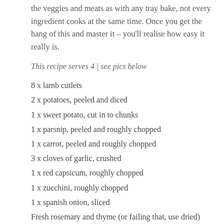the veggies and meats as with any tray bake, not every ingredient cooks at the same time. Once you get the hang of this and master it – you'll realise how easy it really is.
This recipe serves 4 | see pics below
8 x lamb cutlets
2 x potatoes, peeled and diced
1 x sweet potato, cut in to chunks
1 x parsnip, peeled and roughly chopped
1 x carrot, peeled and roughly chopped
3 x cloves of garlic, crushed
1 x red capsicum, roughly chopped
1 x zucchini, roughly chopped
1 x spanish onion, sliced
Fresh rosemary and thyme (or failing that, use dried)